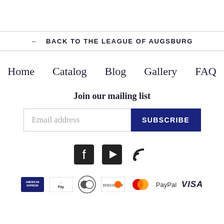← BACK TO THE LEAGUE OF AUGSBURG
Home   Catalog   Blog   Gallery   FAQ
Join our mailing list
Email address  SUBSCRIBE
[Figure (infographic): Social media icons: Facebook, YouTube/Play, RSS feed icons]
[Figure (infographic): Payment icons: American Express, Apple Pay, Diners Club, Discover, Mastercard, PayPal, Visa]